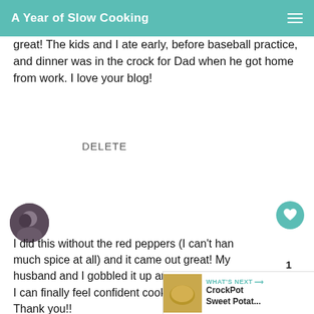A Year of Slow Cooking
great! The kids and I ate early, before baseball practice, and dinner was in the crock for Dad when he got home from work. I love your blog!
DELETE
BROOKE
7/23/2008
I did this without the red peppers (I can't handle much spice at all) and it came out great! My husband and I gobbled it up and wanted more. I can finally feel confident cooking salmon! Thank you!!